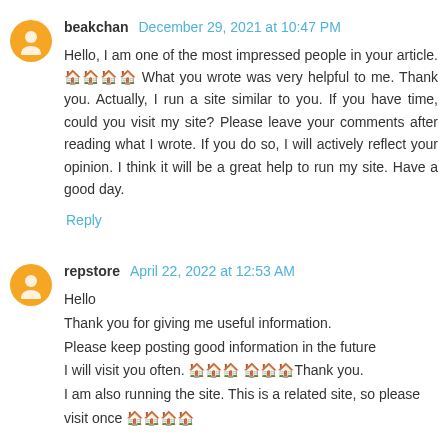beakchan  December 29, 2021 at 10:47 PM
Hello, I am one of the most impressed people in your article. 🏠🏠🏠🏠 What you wrote was very helpful to me. Thank you. Actually, I run a site similar to you. If you have time, could you visit my site? Please leave your comments after reading what I wrote. If you do so, I will actively reflect your opinion. I think it will be a great help to run my site. Have a good day.
Reply
repstore  April 22, 2022 at 12:53 AM
Hello
Thank you for giving me useful information.
Please keep posting good information in the future
I will visit you often. 🏠🏠🏠 🏠🏠🏠Thank you.
I am also running the site. This is a related site, so please visit once 🏠🏠🏠🏠